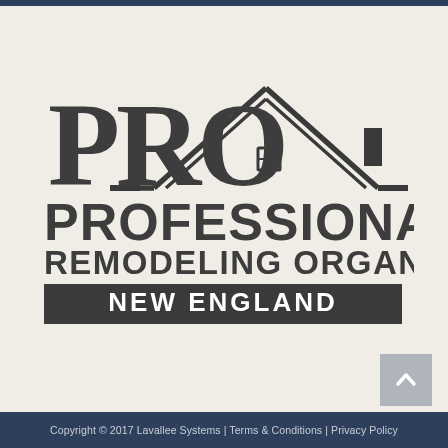[Figure (logo): PRO Professional Remodeling Organization New England logo with house/roof graphic above the text]
Copyright © 2017 Lavallee Systems | Terms & Conditions | Privacy Policy